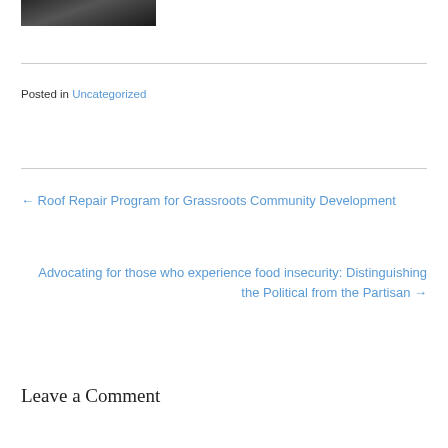[Figure (photo): Partial photo strip showing a dark image, likely a person or object in low light]
Posted in Uncategorized
← Roof Repair Program for Grassroots Community Development
Advocating for those who experience food insecurity: Distinguishing the Political from the Partisan →
Leave a Comment